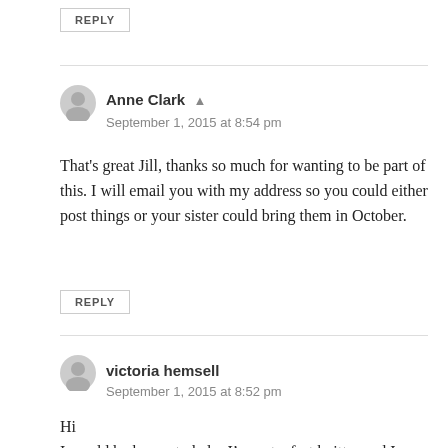REPLY
Anne Clark ▲
September 1, 2015 at 8:54 pm
That's great Jill, thanks so much for wanting to be part of this. I will email you with my address so you could either post things or your sister could bring them in October.
REPLY
victoria hemsell
September 1, 2015 at 8:52 pm
Hi
I would be happy to help, I'm not a fast knitter and I